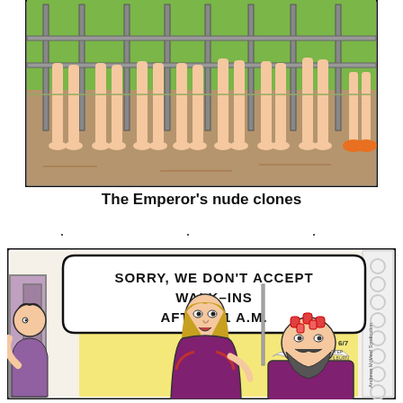[Figure (illustration): Comic strip panel showing a row of bare feet and legs of multiple identical figures walking behind a fence on a dirt path with green grass, a single person wearing orange shoes visible at the right edge.]
The Emperor's nude clones
. . .
[Figure (illustration): Comic strip panel showing a hair salon scene. A hairdresser with long blonde hair wearing a purple top says in a speech bubble: 'SORRY, WE DON'T ACCEPT WALK-INS AFTER 11 A.M.' A bearded man sits in the salon chair with hair curlers in his hair wearing a white ruffled collar. A person peeks in from the left side through a doorway. Andrews McMeel Syndication watermark on right side. Dated 6/7.]